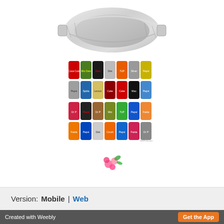[Figure (photo): Silver aluminum foil baking tray / pan viewed from above at an angle, on white background]
[Figure (photo): Grid of various soda/soft drink cans (Coca-Cola, Pepsi, Mountain Dew, Sprite, Dr Pepper, and others) arranged in 4 rows of 7 cans each]
[Figure (illustration): Small pink hibiscus flower icon/emoji]
Version:  Mobile  |  Web
Created with Weebly    Get the App